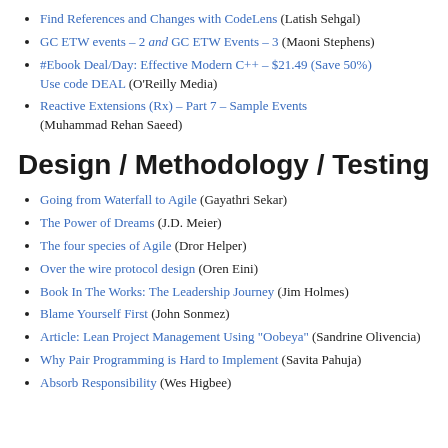Find References and Changes with CodeLens (Latish Sehgal)
GC ETW events – 2 and GC ETW Events – 3 (Maoni Stephens)
#Ebook Deal/Day: Effective Modern C++ – $21.49 (Save 50%) Use code DEAL (O'Reilly Media)
Reactive Extensions (Rx) – Part 7 – Sample Events (Muhammad Rehan Saeed)
Design / Methodology / Testing
Going from Waterfall to Agile (Gayathri Sekar)
The Power of Dreams (J.D. Meier)
The four species of Agile (Dror Helper)
Over the wire protocol design (Oren Eini)
Book In The Works: The Leadership Journey (Jim Holmes)
Blame Yourself First (John Sonmez)
Article: Lean Project Management Using "Oobeya" (Sandrine Olivencia)
Why Pair Programming is Hard to Implement (Savita Pahuja)
Absorb Responsibility (Wes Higbee)